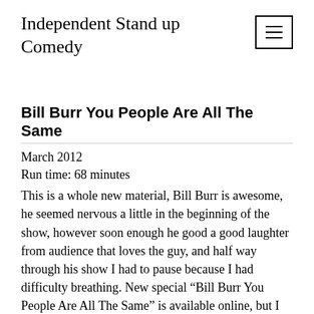Independent Stand up Comedy
Bill Burr You People Are All The Same
March 2012
Run time: 68 minutes
This is a whole new material, Bill Burr is awesome, he seemed nervous a little in the beginning of the show, however soon enough he good a good laughter from audience that loves the guy, and half way through his show I had to pause because I had difficulty breathing. New special “Bill Burr You People Are All The Same” is available online, but I think amazon is much better place to buy, however you can only see it